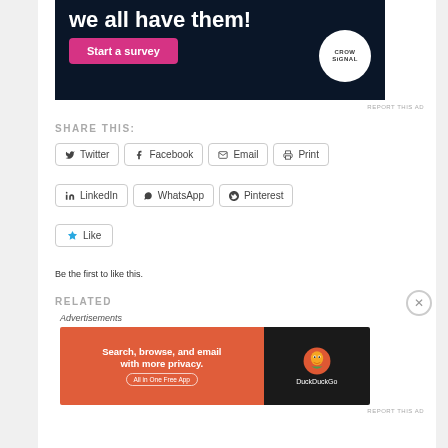[Figure (other): CrowdSignal ad banner: dark navy background with white bold text 'We all have them!', pink 'Start a survey' button, and circular CrowdSignal logo]
REPORT THIS AD
SHARE THIS:
Twitter
Facebook
Email
Print
LinkedIn
WhatsApp
Pinterest
Like
Be the first to like this.
RELATED
Advertisements
[Figure (other): DuckDuckGo advertisement banner: orange left side with 'Search, browse, and email with more privacy. All in One Free App', dark right side with DuckDuckGo duck logo and text]
REPORT THIS AD